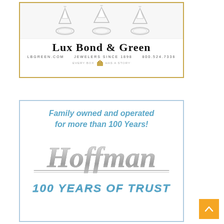[Figure (photo): Lux Bond & Green jeweler advertisement with diamond rings at top, brand name and contact info]
[Figure (illustration): Hoffman auto/business advertisement: Family owned and operated for more than 100 Years! Hoffman logo, 100 YEARS OF TRUST tagline]